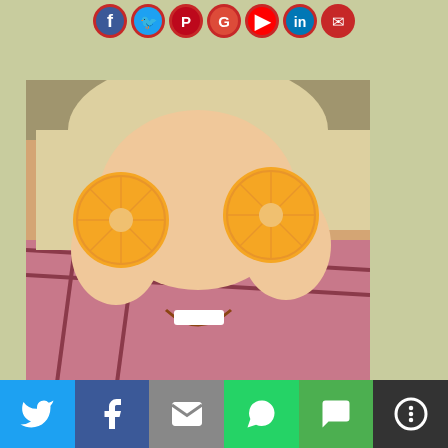[Figure (other): Row of social media icon circles at top: Facebook, Twitter, Pinterest, Google+, YouTube, LinkedIn, Email]
[Figure (photo): Woman with blonde hair holding two sliced orange halves over her eyes like glasses, smiling, wearing plaid shirt]
[Figure (infographic): Bottom share bar with Twitter (blue), Facebook (dark blue), Email (grey), WhatsApp (green), SMS (green), More (dark) buttons]